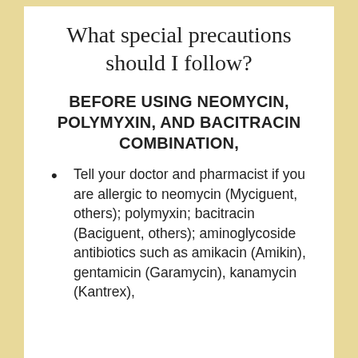What special precautions should I follow?
BEFORE USING NEOMYCIN, POLYMYXIN, AND BACITRACIN COMBINATION,
Tell your doctor and pharmacist if you are allergic to neomycin (Myciguent, others); polymyxin; bacitracin (Baciguent, others); aminoglycoside antibiotics such as amikacin (Amikin), gentamicin (Garamycin), kanamycin (Kantrex),